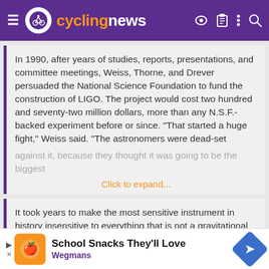[Figure (logo): Cyclingnews website header with purple background, hamburger menu, cyclist logo, cyclingnews wordmark in orange and white, and icons for key, clipboard, more, and search]
In 1990, after years of studies, reports, presentations, and committee meetings, Weiss, Thorne, and Drever persuaded the National Science Foundation to fund the construction of LIGO. The project would cost two hundred and seventy-two million dollars, more than any N.S.F.-backed experiment before or since. “That started a huge fight,” Weiss said. “The astronomers were dead-set against it, because they thought it was going to be the biggest
Click to expand...
It took years to make the most sensitive instrument in history insensitive to everything that is not a gravitational wave. Emptying the tubes of air demanded forty days of pumping. The result was one of the purest vacuums ever created on Earth, a trillionth as dense as the atmosphere at sea level. Still, the sources of interference were almost beyond reckoning—the motion of the wind in Hanford, or of the ocean in Livingston; imperfections in the laser
Click to expand...
[Figure (infographic): Advertisement banner: School Snacks They'll Love - Wegmans, with orange logo box, blue diamond arrow icon]